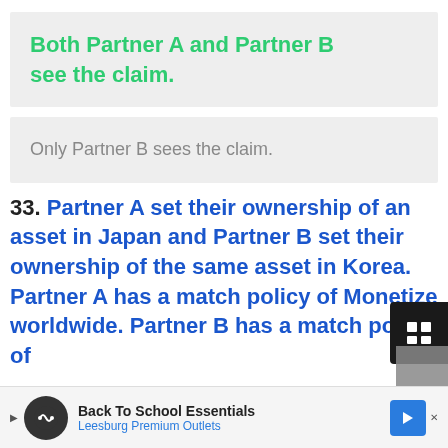Both Partner A and Partner B see the claim.
Only Partner B sees the claim.
33. Partner A set their ownership of an asset in Japan and Partner B set their ownership of the same asset in Korea. Partner A has a match policy of Monetize worldwide. Partner B has a match policy of
[Figure (other): Advertisement banner: Back To School Essentials - Leesburg Premium Outlets]